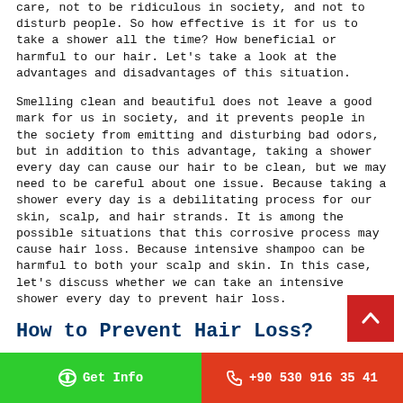care, not to be ridiculous in society, and not to disturb people. So how effective is it for us to take a shower all the time? How beneficial or harmful to our hair. Let's take a look at the advantages and disadvantages of this situation.
Smelling clean and beautiful does not leave a good mark for us in society, and it prevents people in the society from emitting and disturbing bad odors, but in addition to this advantage, taking a shower every day can cause our hair to be clean, but we may need to be careful about one issue. Because taking a shower every day is a debilitating process for our skin, scalp, and hair strands. It is among the possible situations that this corrosive process may cause hair loss. Because intensive shampoo can be harmful to both your scalp and skin. In this case, let's discuss whether we can take an intensive shower every day to prevent hair loss.
How to Prevent Hair Loss?
Nowadays, hair care and frequent showering is a situation
Get Info   +90 530 916 35 41